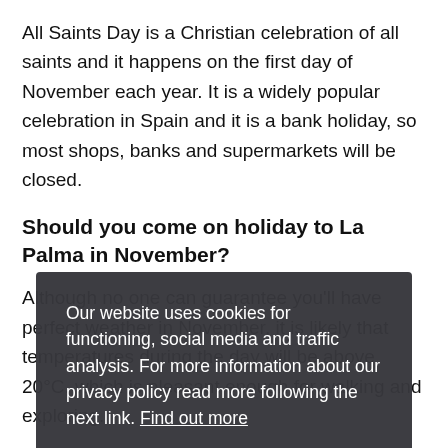All Saints Day is a Christian celebration of all saints and it happens on the first day of November each year. It is a widely popular celebration in Spain and it is a bank holiday, so most shops, banks and supermarkets will be closed.
Should you come on holiday to La Palma in November?
Although no one can guarantee you'll have perfect weather in November, it is likely that temperatures during the day will be above 20°C, which is pleasant enough for walking and exploring.
La Palma is less busy in November and autumn in general compared to the summer months when most of the visitors arrive on the island. So if
Our website uses cookies for functioning, social media and traffic analysis. For more information about our privacy policy read more following the next link. Find out more